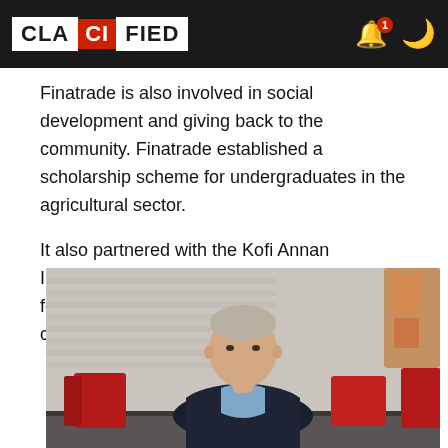CLASSIFIED — app header bar with logo and icons
Finatrade is also involved in social development and giving back to the community. Finatrade established a scholarship scheme for undergraduates in the agricultural sector.
It also partnered with the Kofi Annan International ICT Centre of Excellence to foster and integrate ICT in the Ghana communities.
[Figure (photo): A man in a dark suit jacket and light blue shirt sitting at a table in a modern office setting with red chairs and venetian blinds in the background.]